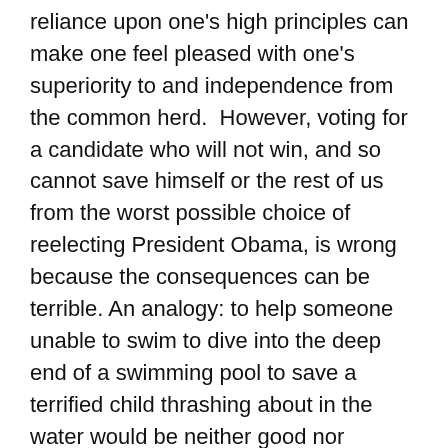reliance upon one's high principles can make one feel pleased with one's superiority to and independence from the common herd. However, voting for a candidate who will not win, and so cannot save himself or the rest of us from the worst possible choice of reelecting President Obama, is wrong because the consequences can be terrible. An analogy: to help someone unable to swim to dive into the deep end of a swimming pool to save a terrified child thrashing about in the water would be neither good nor principled. He would then likely need to be rescued at the risk of distracting and even preventing a swimmer already in the water, who could have saved the child from drowning, from doing so. With a non-swimmer who cannot rescue a distressed child in the water with him, both thrashing wildly about, it could be impossible for the swimmer who could otherwise have done the job to do